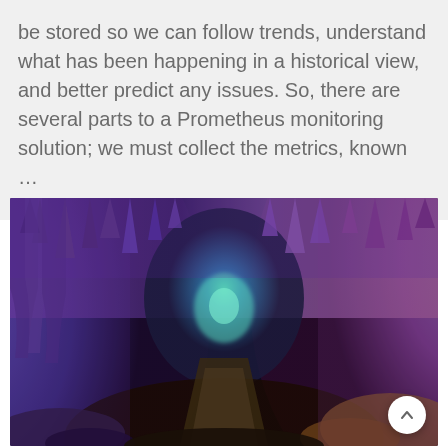be stored so we can follow trends, understand what has been happening in a historical view, and better predict any issues. So, there are several parts to a Prometheus monitoring solution; we must collect the metrics, known …
[Figure (photo): A illuminated cave or cavern interior showing stalactites and geological formations lit with purple, blue, teal, and golden lighting creating a dramatic atmospheric scene with a pathway visible in the center.]